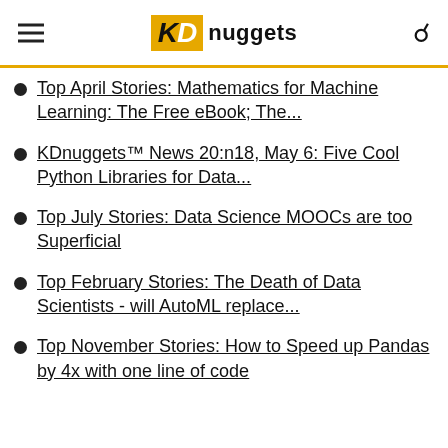KDnuggets
Top April Stories: Mathematics for Machine Learning: The Free eBook; The...
KDnuggets™ News 20:n18, May 6: Five Cool Python Libraries for Data...
Top July Stories: Data Science MOOCs are too Superficial
Top February Stories: The Death of Data Scientists - will AutoML replace...
Top November Stories: How to Speed up Pandas by 4x with one line of code